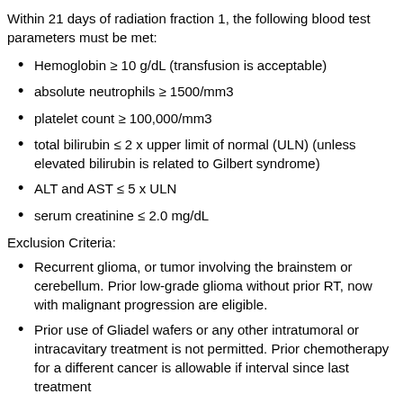Within 21 days of radiation fraction 1, the following blood test parameters must be met:
Hemoglobin ≥ 10 g/dL (transfusion is acceptable)
absolute neutrophils ≥ 1500/mm3
platelet count ≥ 100,000/mm3
total bilirubin ≤ 2 x upper limit of normal (ULN) (unless elevated bilirubin is related to Gilbert syndrome)
ALT and AST ≤ 5 x ULN
serum creatinine ≤ 2.0 mg/dL
Exclusion Criteria:
Recurrent glioma, or tumor involving the brainstem or cerebellum. Prior low-grade glioma without prior RT, now with malignant progression are eligible.
Prior use of Gliadel wafers or any other intratumoral or intracavitary treatment is not permitted. Prior chemotherapy for a different cancer is allowable if interval since last treatment